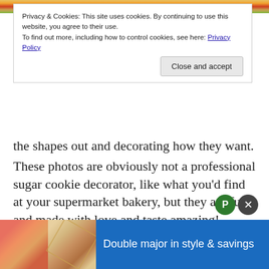[Figure (photo): Colorful cookies or food items at top of page, partially visible]
Privacy & Cookies: This site uses cookies. By continuing to use this website, you agree to their use.
To find out more, including how to control cookies, see here: Privacy Policy
Close and accept
the shapes out and decorating how they want.
These photos are obviously not a professional sugar cookie decorator, like what you'd find at your supermarket bakery, but they are fun and made with love and taste amazing!
D-Man and RiRi decorated most of them, with a few done by myself. I think they came out ador...
[Figure (photo): Advertisement banner at bottom: geometric pattern images on left, blue background with text 'Double major in style & savings' on right]